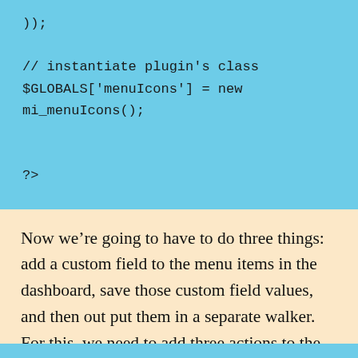[Figure (screenshot): Code block on blue background showing PHP code: )); // instantiate plugin's class $GLOBALS['menuIcons'] = new mi_menuIcons(); ?>]
Now we're going to have to do three things: add a custom field to the menu items in the dashboard, save those custom field values, and then out put them in a separate walker. For this, we need to add three actions to the __construct() class: